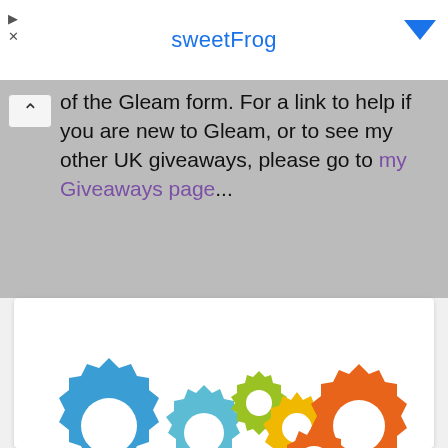sweetFrog
of the Gleam form. For a link to help if you are new to Gleam, or to see my other UK giveaways, please go to my Giveaways page...
[Figure (illustration): Five colorful gear/cog icons arranged in a row: one large blue gear, one medium teal gear, one small green gear, one medium orange gear, one large orange gear — the Gleam logo/icon]
Access Denied
The location (IP Address) you are using is from a data center. To prevent fraud, Gleam blocks entry...